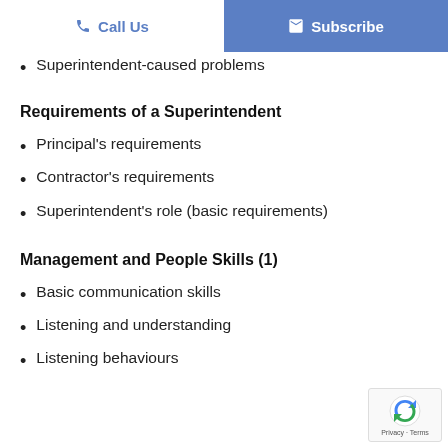Call Us | Subscribe
Superintendent-caused problems
Requirements of a Superintendent
Principal's requirements
Contractor's requirements
Superintendent's role (basic requirements)
Management and People Skills (1)
Basic communication skills
Listening and understanding
Listening behaviours